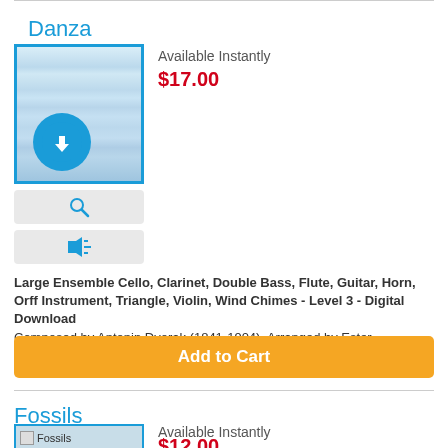Danza slava op.72 n.2
Available Instantly
$17.00
[Figure (illustration): Sheet music thumbnail with blue download circle icon overlay]
[Figure (illustration): Preview (magnifier) button]
[Figure (illustration): Audio (speaker) button]
Large Ensemble Cello, Clarinet, Double Bass, Flute, Guitar, Horn, Orff Instrument, Triangle, Violin, Wind Chimes - Level 3 - Digital Download
Composed by Antonin Dvorak (1841-1904). Arranged by Ester Alessandrini.
Add to Cart
Fossils
Available Instantly
$12.00